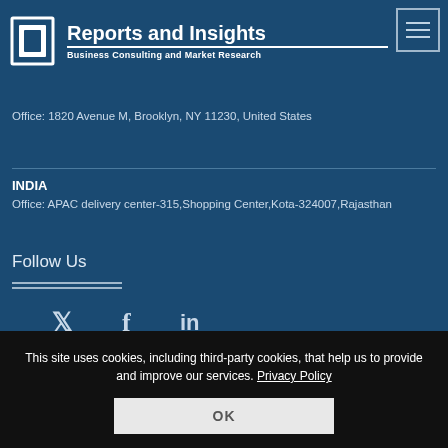[Figure (logo): Reports and Insights logo with icon and tagline Business Consulting and Market Research]
Office: 1820 Avenue M, Brooklyn, NY 11230, United States
INDIA
Office: APAC delivery center-315,Shopping Center,Kota-324007,Rajasthan
Follow Us
[Figure (infographic): Social media icons: Twitter, Facebook, LinkedIn]
This site uses cookies, including third-party cookies, that help us to provide and improve our services. Privacy Policy
OK